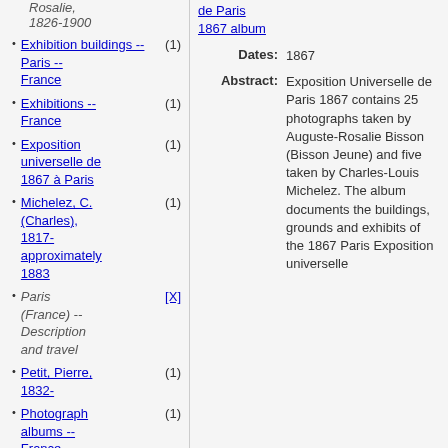Bisson, Auguste-Rosalie, 1826-1900
Exhibition buildings -- Paris -- France (1)
Exhibitions -- France (1)
Exposition universelle de 1867 à Paris (1)
Michelez, C. (Charles), 1817-approximately 1883 (1)
Paris (France) -- Description and travel [X]
Petit, Pierre, 1832- (1)
Photograph albums -- France -- 19th century (1)
Photographs, Original [X]
de Paris 1867 album
Dates: 1867
Abstract: Exposition Universelle de Paris 1867 contains 25 photographs taken by Auguste-Rosalie Bisson (Bisson Jeune) and five taken by Charles-Louis Michelez. The album documents the buildings, grounds and exhibits of the 1867 Paris Exposition universelle